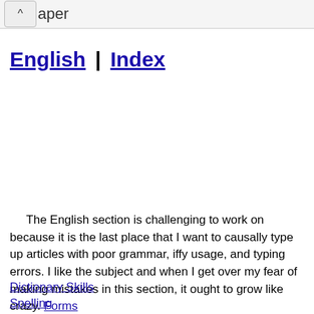aper
English | Index
The English section is challenging to work on because it is the last place that I want to causally type up articles with poor grammar, iffy usage, and typing errors. I like the subject and when I get over my fear of making mistakes in this section, it ought to grow like crazy. Forms
Dictionary Skills
Spelling